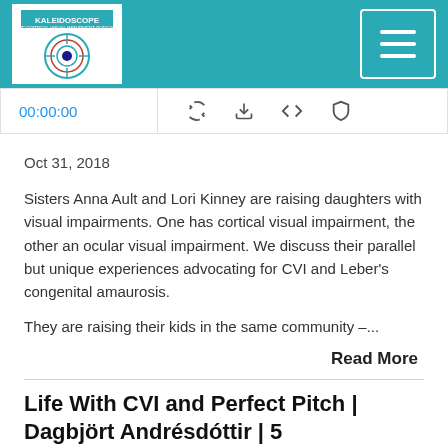[Figure (logo): Kaleidoscope podcast logo in header bar with teal background and hamburger menu button]
00:00:00
Oct 31, 2018
Sisters Anna Ault and Lori Kinney are raising daughters with visual impairments. One has cortical visual impairment, the other an ocular visual impairment. We discuss their parallel but unique experiences advocating for CVI and Leber's congenital amaurosis.
They are raising their kids in the same community –...
Read More
Life With CVI and Perfect Pitch | Dagbjört Andrésdóttir | 5
[Figure (screenshot): Podcast player card showing Kaleidoscope: The Cortical Visual Impairment Podcast with play button and episode title Life With CVI and Perfect Pitch | Dagbjört An...]